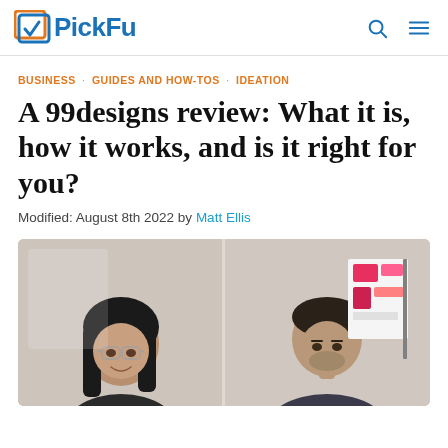PickFu
BUSINESS · GUIDES AND HOW-TOS · IDEATION
A 99designs review: What it is, how it works, and is it right for you?
Modified: August 8th 2022 by Matt Ellis
[Figure (photo): Two people in an office setting: a woman with glasses on the left smiling, and a man on the right near a whiteboard with pink/red design elements]